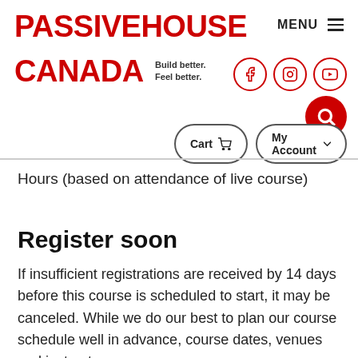[Figure (logo): Passive House Canada logo with tagline 'Build better. Feel better.' in red bold text]
[Figure (infographic): MENU navigation icon, social media icons (Facebook, Instagram, YouTube), red search button, Cart and My Account navigation buttons]
Hours (based on attendance of live course)
Register soon
If insufficient registrations are received by 14 days before this course is scheduled to start, it may be canceled. While we do our best to plan our course schedule well in advance, course dates, venues and instructors are